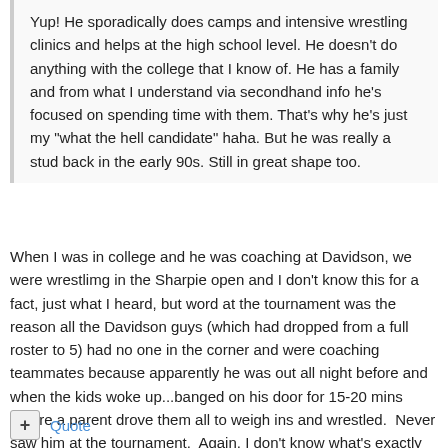Yup! He sporadically does camps and intensive wrestling clinics and helps at the high school level. He doesn't do anything with the college that I know of. He has a family and from what I understand via secondhand info he's focused on spending time with them. That's why he's just my "what the hell candidate" haha. But he was really a stud back in the early 90s. Still in great shape too.
When I was in college and he was coaching at Davidson, we were wrestlimg in the Sharpie open and I don't know this for a fact, just what I heard, but word at the tournament was the reason all the Davidson guys (which had dropped from a full roster to 5) had no one in the corner and were coaching teammates because apparently he was out all night before and when the kids woke up...banged on his door for 15-20 mins before a parent drove them all to weigh ins and wrestled.  Never saw him at the tournament.  Again, I don't know what's exactly true and what's not, but it was 2 kids on the team that were saying it.  Who knows
Quote